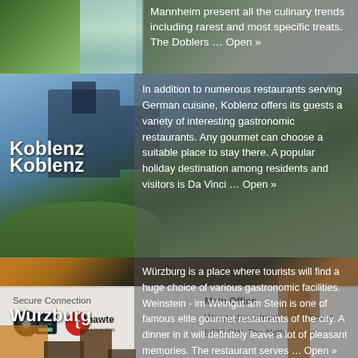[Figure (photo): Partial view of Mannheim with gardens and fountains visible at top, with text overlay about culinary trends]
Mannheim present all the culinary trends including rarest and most specific treats. The Doblers … Open »
[Figure (photo): Koblenz castle on hillside with river valley below, blue sky with clouds]
Koblenz
In addition to numerous restaurants serving German cuisine, Koblenz offers its guests a variety of interesting gastronomic restaurants. Any gourmet can choose a suitable place to stay there. A popular holiday destination among residents and visitors is Da Vinci … Open »
[Figure (photo): Wurzburg old town with half-timbered buildings and a tall church tower lit at night/dusk]
Wurzburg
Würzburg is a place where tourists will find a huge choice of various gastronomic facilities. Weinstein - im Weingut am Stein is one of famous elite gourmet restaurants of the city. A dinner in it will definitely leave a lot of pleasant memories. The restaurant serves … Open »
Secure Connection
[Figure (logo): Comodo Secured seal logo]
[Figure (logo): Thawte - it's a trust thing logo]
Main Office
Weegschaalstraat 3, Eindhoven
5632 CW, The Netherlands